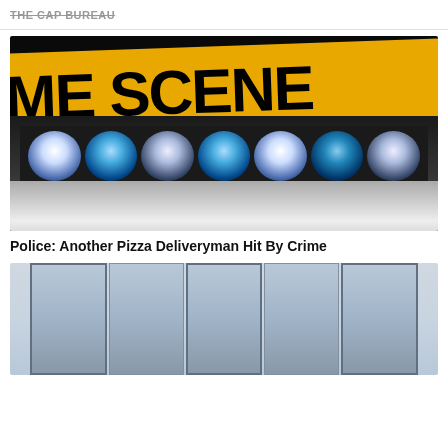THE CAP BUREAU
[Figure (photo): Police car light bar with blue and white emergency lights against a dark background, with yellow crime scene tape visible in the upper portion reading 'ME SCENE']
Police: Another Pizza Deliveryman Hit By Crime
[Figure (photo): Exterior view of a building with glass panels/windows, light gray and blue toned facade]